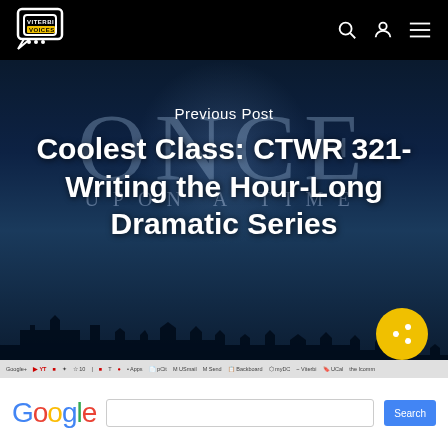Viterbi Voices
[Figure (screenshot): Hero image showing 'Once Upon A Time' TV show logo/title card with dark blue moody background, city silhouette, and spotlight effect. Overlaid text reads 'Previous Post' and article title.]
Previous Post
Coolest Class: CTWR 321-Writing the Hour-Long Dramatic Series
[Figure (screenshot): Screenshot of Google homepage showing browser bookmarks toolbar and Google search bar with blue search button.]